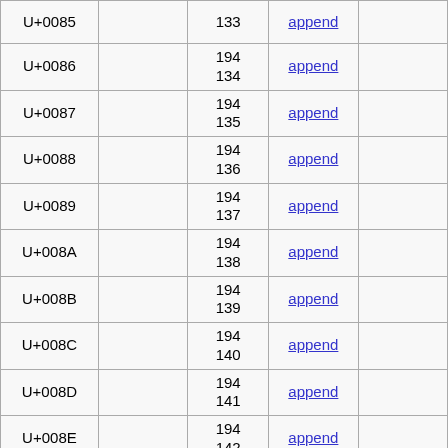| Code point |  | Bytes | Link |  |
| --- | --- | --- | --- | --- |
| U+0085 |  | 133 | append |  |
| U+0086 |  | 194
134 | append |  |
| U+0087 |  | 194
135 | append |  |
| U+0088 |  | 194
136 | append |  |
| U+0089 |  | 194
137 | append |  |
| U+008A |  | 194
138 | append |  |
| U+008B |  | 194
139 | append |  |
| U+008C |  | 194
140 | append |  |
| U+008D |  | 194
141 | append |  |
| U+008E |  | 194
142 | append |  |
| U+008F |  | 194
143 | append |  |
| U+0090 |  | 194
144 | append |  |